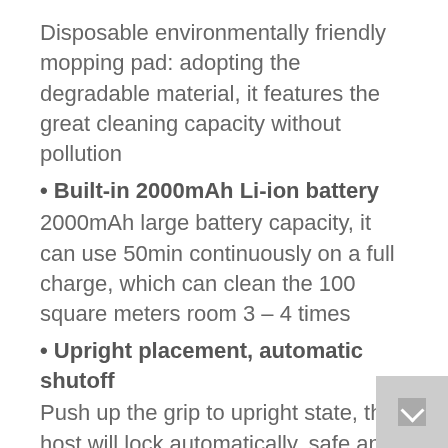Disposable environmentally friendly mopping pad: adopting the degradable material, it features the great cleaning capacity without pollution
• Built-in 2000mAh Li-ion battery
2000mAh large battery capacity, it can use 50min continuously on a full charge, which can clean the 100 square meters room 3 – 4 times
• Upright placement, automatic shutoff
Push up the grip to upright state, the host will lock automatically, safe and energy-saving
• Power indicator
3 power indicators display the 100 percent, 65 percent and 30 percent respectively
• Water inlet design
Use the included measuring cup to add water,